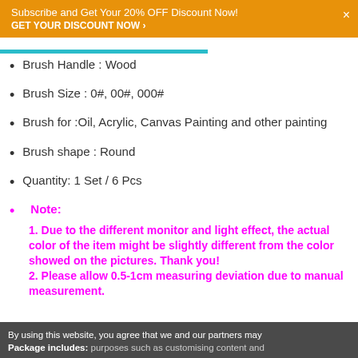Subscribe and Get Your 20% OFF Discount Now! GET YOUR DISCOUNT NOW ›
Brush Handle : Wood
Brush Size : 0#, 00#, 000#
Brush for :Oil, Acrylic, Canvas Painting and other painting
Brush shape : Round
Quantity: 1 Set / 6 Pcs
Note: 1. Due to the different monitor and light effect, the actual color of the item might be slightly different from the color showed on the pictures. Thank you! 2. Please allow 0.5-1cm measuring deviation due to manual measurement.
By using this website, you agree that we and our partners may Package includes: purposes such as customising content and